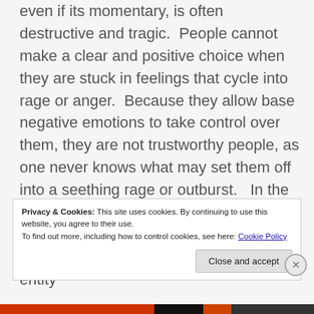even if its momentary, is often destructive and tragic.  People cannot make a clear and positive choice when they are stuck in feelings that cycle into rage or anger.  Because they allow base negative emotions to take control over them, they are not trustworthy people, as one never knows what may set them off into a seething rage or outburst.   In the current terrain, most people that burst out into hostile anger are enduring short term thought form possession or dark entity
Privacy & Cookies: This site uses cookies. By continuing to use this website, you agree to their use.
To find out more, including how to control cookies, see here: Cookie Policy
Close and accept